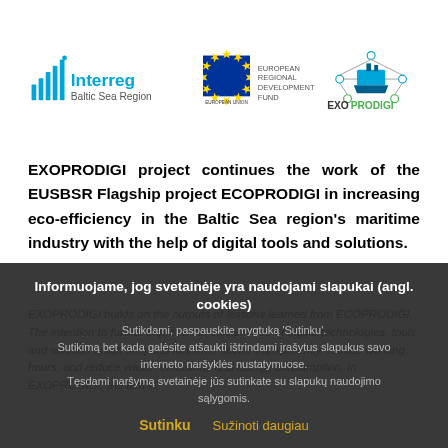[Figure (logo): Interreg Baltic Sea Region logo with EU flag, ERDF text, and EXOPRODIGI logo (ship/network graphic with teal and green colors)]
EXOPRODIGI project continues the work of the EUSBSR Flagship project ECOPRODIGI in increasing eco-efficiency in the Baltic Sea region's maritime industry with the help of digital tools and solutions.
Informuojame, jog svetainėje yra naudojami slapukai (angl. cookies)
Sutikdami, paspauskite mygtuką 'Sutinku'.
Sutikimą bet kada galėsite atšaukti ištrindami įrašytus slapukus savo interneto naršyklės nustatymuose.
Tęsdami naršymą svetainėje jūs sutinkate su slapukų naudojimo sąlygomis.
Sutinku    Sužinoti daugiau